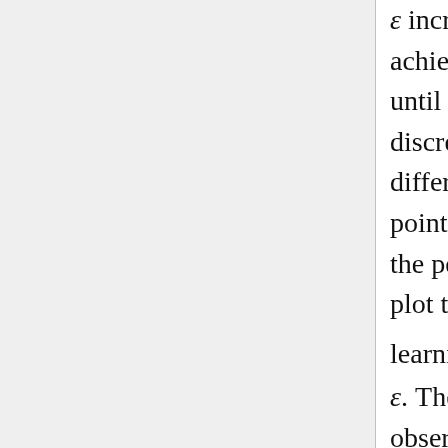ε increases. Additionally, the peak test accuracy achieved at a given learning rate does not begin to fall until ε ~ 3, indicating that there is no significant discretization error in integrating the stochastic differential equation below this point. Above this point, the discretization error begins to dominate and the peak test accuracy falls rapidly. In figure 5b, we plot the best observed batch size as a function of learning rate, observing a clear linear trend, Bopt ∝ ε. The error bars indicate the distance from the best observed batch size to the next batch size sampled in our experiments.
This scaling rule allows us to increase the learning rate with no loss in test accuracy and no increase in computational cost, simply by simultaneously increasing the batch size